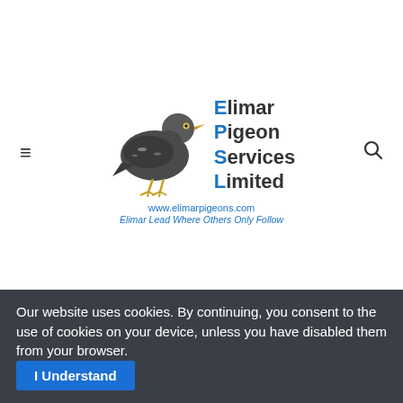[Figure (logo): Elimar Pigeon Services Limited logo with a pigeon image and text. Website: www.elimarpigeons.com. Tagline: Elimar Lead Where Others Only Follow]
B18-6152701
Cracking Hen
Dam & G.Dam of 1st Federation winners!
Her father is
Our website uses cookies. By continuing, you consent to the use of cookies on your device, unless you have disabled them from your browser.
I Understand